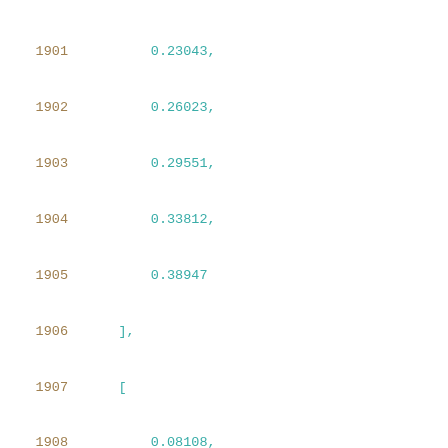1901    0.23043,
1902    0.26023,
1903    0.29551,
1904    0.33812,
1905    0.38947
1906    ],
1907    [
1908    0.08108,
1909    0.09824,
1910    0.1016,
1911    0.10551,
1912    0.11052,
1913    0.11627,
1914    0.1233,
1915    0.1316,
1916    0.1415,
1917    0.15347,
1918    0.16779,
1919    0.18502,
1920    0.2054,
1921    0.23023,